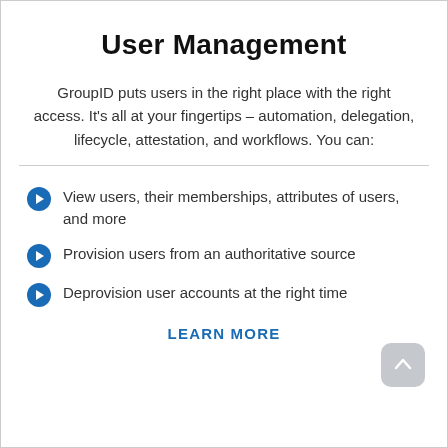User Management
GroupID puts users in the right place with the right access. It’s all at your fingertips – automation, delegation, lifecycle, attestation, and workflows. You can:
View users, their memberships, attributes of users, and more
Provision users from an authoritative source
Deprovision user accounts at the right time
LEARN MORE